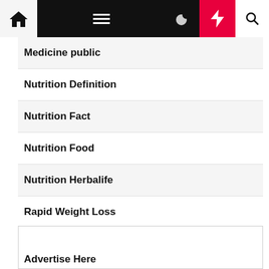Navigation bar with home, menu, moon, bolt, and search icons
Medicine public
Nutrition Definition
Nutrition Fact
Nutrition Food
Nutrition Herbalife
Rapid Weight Loss
Weight Loss Diet
Weight Loss Tips
Advertise Here